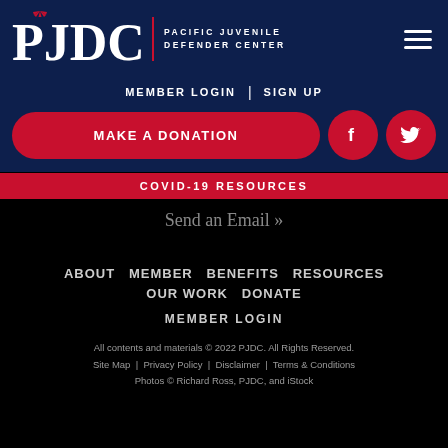PJDC | PACIFIC JUVENILE DEFENDER CENTER
MEMBER LOGIN | SIGN UP
MAKE A DONATION
COVID-19 RESOURCES
Send an Email »
ABOUT MEMBER BENEFITS RESOURCES OUR WORK DONATE
MEMBER LOGIN
All contents and materials © 2022 PJDC. All Rights Reserved. Site Map | Privacy Policy | Disclaimer | Terms & Conditions Photos © Richard Ross, PJDC, and iStock